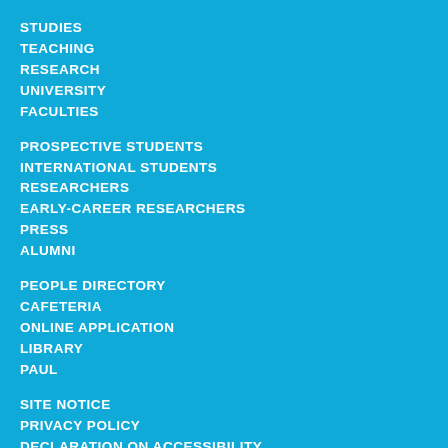STUDIES
TEACHING
RESEARCH
UNIVERSITY
FACULTIES
PROSPECTIVE STUDENTS
INTERNATIONAL STUDENTS
RESEARCHERS
EARLY-CAREER RESEARCHERS
PRESS
ALUMNI
PEOPLE DIRECTORY
CAFETERIA
ONLINE APPLICATION
LIBRARY
PAUL
SITE NOTICE
PRIVACY POLICY
DECLARATION ON ACCESSIBILITY